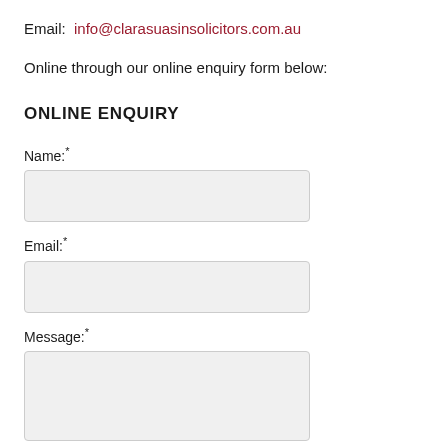Email:  info@clarasuasinsolicitors.com.au
Online through our online enquiry form below:
ONLINE ENQUIRY
Name:*
Email:*
Message:*